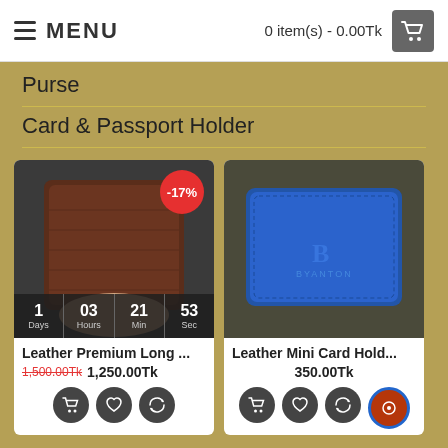MENU   0 item(s) - 0.00Tk
Purse
Card & Passport Holder
[Figure (photo): Dark brown leather long wallet held in a hand, with -17% red badge, countdown timer showing 1 Days 03 Hours 21 Min 53 Sec]
Leather Premium Long ...
1,500.00Tk  1,250.00Tk
[Figure (photo): Blue leather mini card holder wallet on dark background]
Leather Mini Card Hold...
350.00Tk